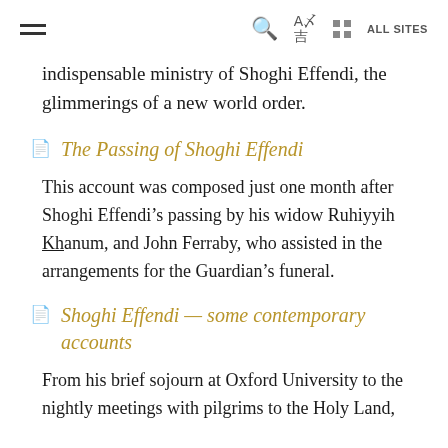≡  🔍  Aあ  ⊞  ALL SITES
indispensable ministry of Shoghi Effendi, the glimmerings of a new world order.
The Passing of Shoghi Effendi
This account was composed just one month after Shoghi Effendi's passing by his widow Ruhiyyih Khanum, and John Ferraby, who assisted in the arrangements for the Guardian's funeral.
Shoghi Effendi — some contemporary accounts
From his brief sojourn at Oxford University to the nightly meetings with pilgrims to the Holy Land,